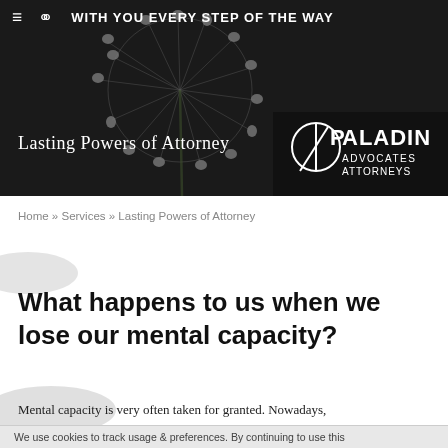WITH YOU EVERY STEP OF THE WAY
[Figure (photo): Dark banner with dandelion photograph background and Paladin Advocates Attorneys logo]
Lasting Powers of Attorney
Home » Services » Lasting Powers of Attorney
What happens to us when we lose our mental capacity?
Mental capacity is very often taken for granted. Nowadays,
We use cookies to track usage & preferences. By continuing to use this